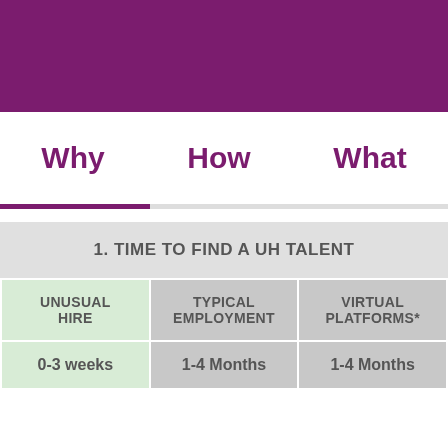[Figure (other): Purple header banner at top of page]
Why   How   What
[Figure (other): Progress indicator bar, partially filled in purple]
| UNUSUAL HIRE | TYPICAL EMPLOYMENT | VIRTUAL PLATFORMS* |
| --- | --- | --- |
| 0-3 weeks | 1-4 Months | 1-4 Months |